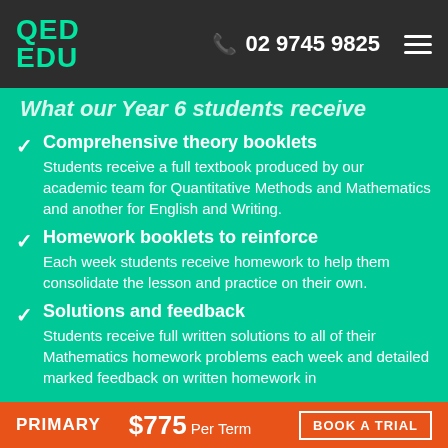QED EDU  02 9745 9825
What our Year 6 students receive
Comprehensive theory booklets — Students receive a full textbook produced by our academic team for Quantitative Methods and Mathematics and another for English and Writing.
Homework booklets to reinforce — Each week students receive homework to help them consolidate the lesson and practice on their own.
Solutions and feedback — Students receive full written solutions to all of their Mathematics homework problems each week and detailed marked feedback on written homework in English.
PRIMARY  $775 Per Term  BOOK A TRIAL